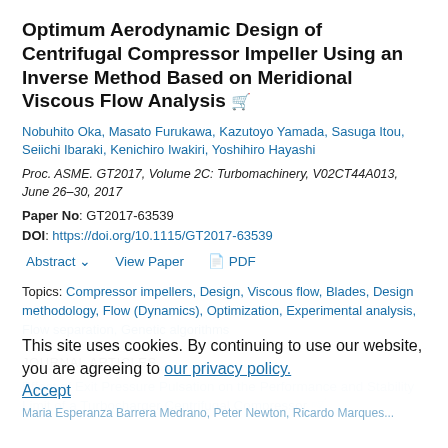Optimum Aerodynamic Design of Centrifugal Compressor Impeller Using an Inverse Method Based on Meridional Viscous Flow Analysis
Nobuhito Oka, Masato Furukawa, Kazutoyo Yamada, Sasuga Itou, Seiichi Ibaraki, Kenichiro Iwakiri, Yoshihiro Hayashi
Proc. ASME. GT2017, Volume 2C: Turbomachinery, V02CT44A013, June 26–30, 2017
Paper No: GT2017-63539
DOI: https://doi.org/10.1115/GT2017-63539
Abstract  View Paper  PDF
Topics: Compressor impellers, Design, Viscous flow, Blades, Design methodology, Flow (Dynamics), Optimization, Experimental analysis, Flow separation, Genetic algorithms
JOURNAL ARTICLES
Effect of Exit Pressure Pulsation on the Performance and Stability Limit of a Turbocharger Centrifugal Compressor
This site uses cookies. By continuing to use our website, you are agreeing to our privacy policy. Accept